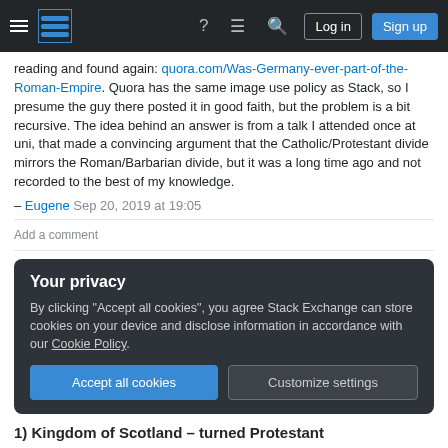Stack Exchange navigation bar with hamburger menu, logo, help, chat, search icons, Log in and Sign up buttons
reading and found again: quora.com/Was-Germany-ever-part-of-the-Roman-Empire. Quora has the same image use policy as Stack, so I presume the guy there posted it in good faith, but the problem is a bit recursive. The idea behind an answer is from a talk I attended once at uni, that made a convincing argument that the Catholic/Protestant divide mirrors the Roman/Barbarian divide, but it was a long time ago and not recorded to the best of my knowledge.
– Eugene Sep 20, 2019 at 19:05
Add a comment
Your privacy
By clicking "Accept all cookies", you agree Stack Exchange can store cookies on your device and disclose information in accordance with our Cookie Policy.
Accept all cookies   Customize settings
1) Kingdom of Scotland - turned Protestant